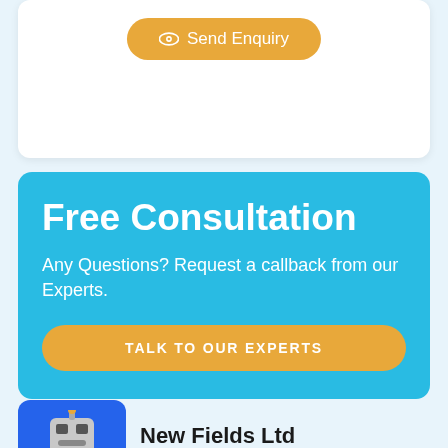[Figure (other): Send Enquiry button with eye icon on a white card background]
Free Consultation
Any Questions? Request a callback from our Experts.
TALK TO OUR EXPERTS
[Figure (logo): Robot logo icon for New Fields Ltd on blue square background]
New Fields Ltd